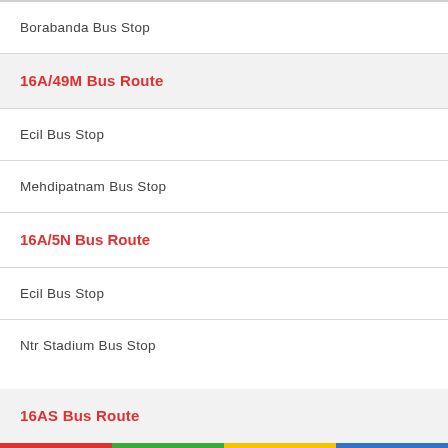Borabanda Bus Stop
16A/49M Bus Route
Ecil Bus Stop
Mehdipatnam Bus Stop
16A/5N Bus Route
Ecil Bus Stop
Ntr Stadium Bus Stop
16AS Bus Route